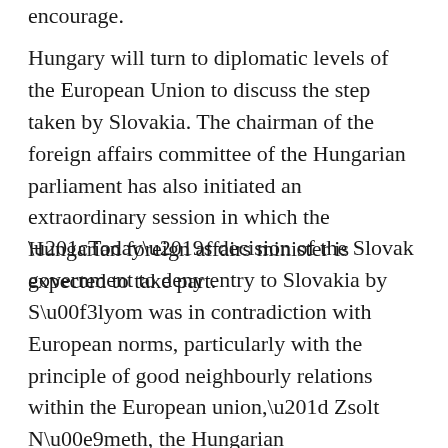encourage.
Hungary will turn to diplomatic levels of the European Union to discuss the step taken by Slovakia. The chairman of the foreign affairs committee of the Hungarian parliament has also initiated an extraordinary session in which the Hungarian foreign affairs minister is expected to take part.
“Today’s decision of the Slovak government to deny entry to Slovakia by Sólyom was in contradiction with European norms, particularly with the principle of good neighbourly relations within the European union,” Zsolt Németh, the Hungarian parliament’s deputy for the right-wing Fidesz party said, as quoted by the Sme daily.